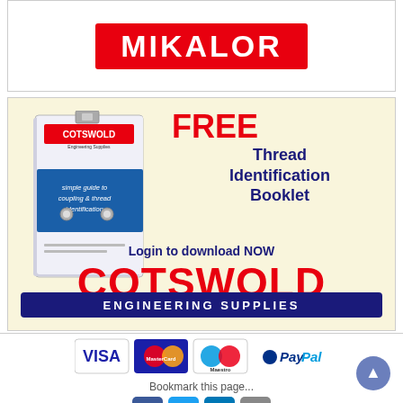[Figure (logo): Mikalor logo — white text on red background]
[Figure (infographic): Cotswold Engineering Supplies advertisement with booklet image, FREE Thread Identification Booklet offer, Login to download NOW, COTSWOLD in large red text, ENGINEERING SUPPLIES on dark blue bar]
[Figure (logo): Payment icons: VISA, MasterCard, Maestro, PayPal]
Bookmark this page...
[Figure (infographic): Social sharing icons: Facebook, Twitter, LinkedIn, Email]